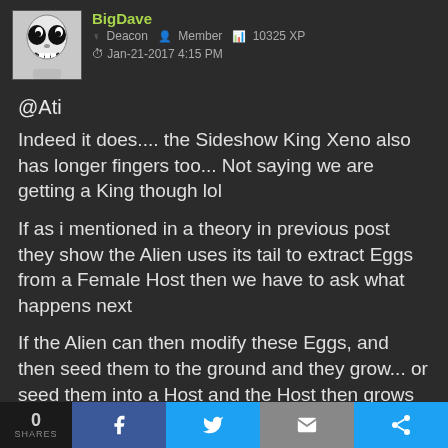BigDave | Deacon | Member | 10325 XP | Jan-21-2017 4:15 PM
@Ati
Indeed it does.... the Sideshow King Xeno also has longer fingers too... Not saying we are getting a King though lol
If as i mentioned in a theory in previous post they show the Alien uses its tail to extract Eggs from a Female Host then we have to ask what happens next
If the Alien can then modify these Eggs, and then seed them to the ground and they grow... or seed them into a Host and the Host then grows into a Egg, with the Human Egg inside evolved into a Face Hugger..... this could make a good way to look
0 SHARES | f | Twitter | Mail | Share